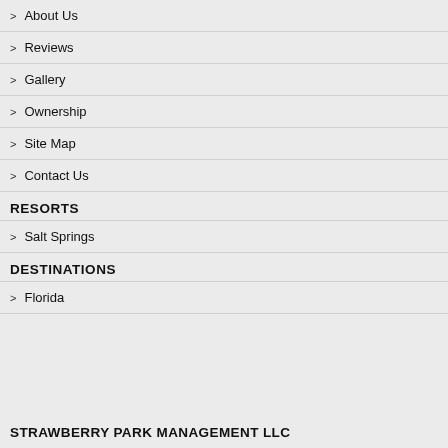About Us
Reviews
Gallery
Ownership
Site Map
Contact Us
RESORTS
Salt Springs
DESTINATIONS
Florida
STRAWBERRY PARK MANAGEMENT LLC